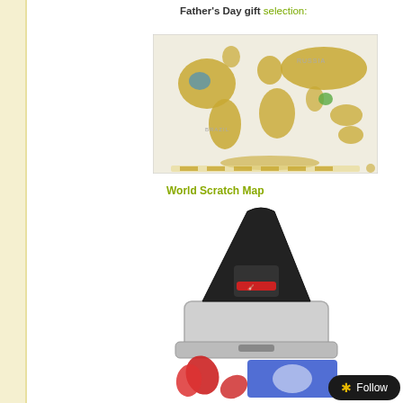Father's Day gift selection:
[Figure (photo): World Scratch Map product image — a gold-foil world map on white background with some countries scratched to reveal color underneath, showing Antarctica, legend bar at bottom]
World Scratch Map
[Figure (photo): Guitar pick punch product image — a black and silver hole-punch style device alongside red guitar picks and a blue guitar pick card]
Follow